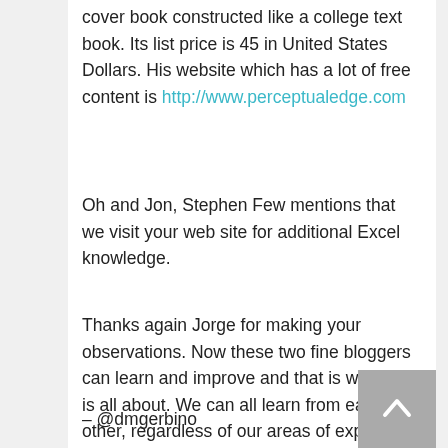cover book constructed like a college text book. Its list price is 45 in United States Dollars. His website which has a lot of free content is http://www.perceptualedge.com
Oh and Jon, Stephen Few mentions that we visit your web site for additional Excel knowledge.
Thanks again Jorge for making your observations. Now these two fine bloggers can learn and improve and that is what this is all about. We can all learn from each other, regardless of our areas of expertise.
– @dmgerbino